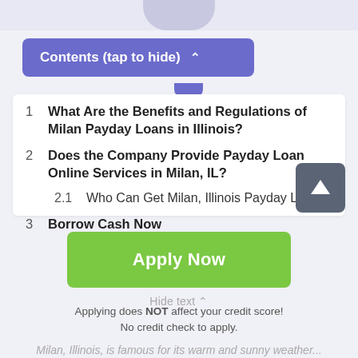Contents (tap to hide) ^
1  What Are the Benefits and Regulations of Milan Payday Loans in Illinois?
2  Does the Company Provide Payday Loan Online Services in Milan, IL?
2.1  Who Can Get Milan, Illinois Payday Loans?
3  Borrow Cash Now
[Figure (other): Green Apply Now button]
Hide text ^
Applying does NOT affect your credit score! No credit check to apply.
Milan, Illinois, is famous for its warm and sunny weather...